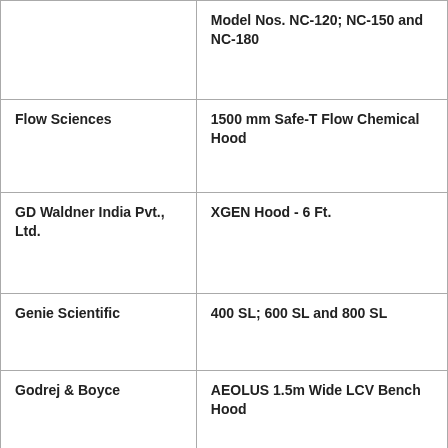|  | Model Nos. NC-120; NC-150 and NC-180 |
| Flow Sciences | 1500 mm Safe-T Flow Chemical Hood |
| GD Waldner India Pvt., Ltd. | XGEN Hood - 6 Ft. |
| Genie Scientific | 400 SL; 600 SL and 800 SL |
| Godrej & Boyce | AEOLUS 1.5m Wide LCV Bench Hood |
| Hanson Lab Solutions | 5SA70 Hood |